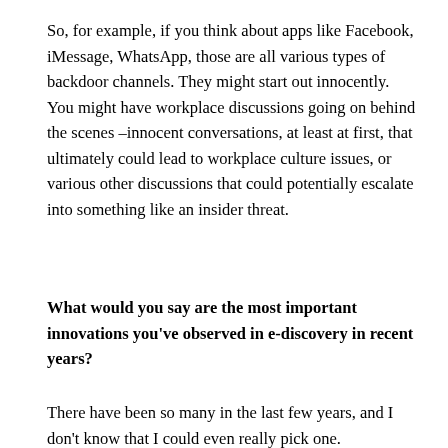So, for example, if you think about apps like Facebook, iMessage, WhatsApp, those are all various types of backdoor channels. They might start out innocently. You might have workplace discussions going on behind the scenes –innocent conversations, at least at first, that ultimately could lead to workplace culture issues, or various other discussions that could potentially escalate into something like an insider threat.
What would you say are the most important innovations you've observed in e-discovery in recent years?
There have been so many in the last few years, and I don't know that I could even really pick one.